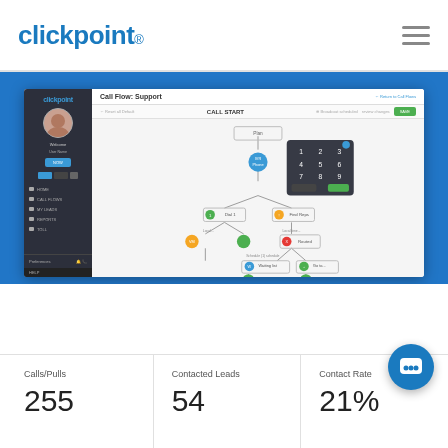clickpoint
[Figure (screenshot): Clickpoint software screenshot showing Call Flow: Support interface with a flowchart/decision tree diagram and a dialpad overlay. Left sidebar shows navigation menu with user avatar. The flowchart shows nodes connected by lines representing a call routing flow.]
Calls/Pulls
255
Contacted Leads
54
Contact Rate
21%